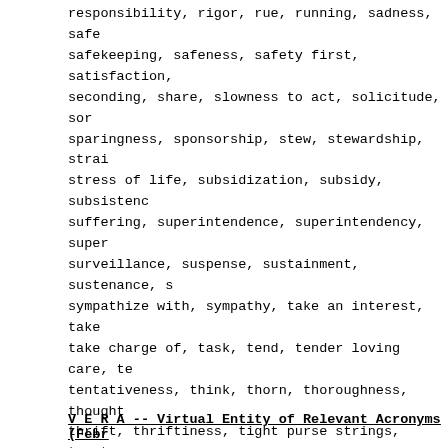responsibility, rigor, rue, running, sadness, safe safekeeping, safeness, safety first, satisfaction, seconding, share, slowness to act, solicitude, sor sparingness, sponsorship, stew, stewardship, strai stress of life, subsidization, subsidy, subsistenc suffering, superintendence, superintendency, super surveillance, suspense, sustainment, sustenance, s sympathize with, sympathy, take an interest, take take charge of, task, tend, tender loving care, te tentativeness, think, thorn, thoroughness, thought thrift, thriftiness, tight purse strings, treatmen tribulation, trouble, troubles, trust, trusteeship uncommunicativeness, unease, uneasiness, unprecipi unquietness, unwastefulness, upkeep, upset, usage, vexation, vicarious authority, vicissitude, vigila wardenship, wardship, warrant, watch and ward, wat watchfulness, waters of bitterness, weight, wing, zeal
V E R A -- Virtual Entity of Relevant Acronyms (Febr